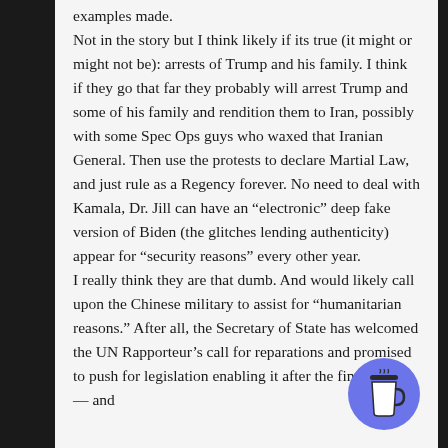examples made.
Not in the story but I think likely if its true (it might or might not be): arrests of Trump and his family. I think if they go that far they probably will arrest Trump and some of his family and rendition them to Iran, possibly with some Spec Ops guys who waxed that Iranian General. Then use the protests to declare Martial Law, and just rule as a Regency forever. No need to deal with Kamala, Dr. Jill can have an "electronic" deep fake version of Biden (the glitches lending authenticity) appear for "security reasons" every other year.
I really think they are that dumb. And would likely call upon the Chinese military to assist for "humanitarian reasons." After all, the Secretary of State has welcomed the UN Rapporteur's call for reparations and promised to push for legislation enabling it after the final report — and
[Figure (illustration): Blue circular button with a coffee cup icon (Buy Me a Coffee style widget)]